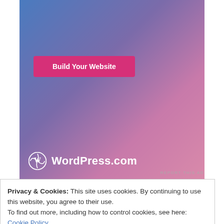[Figure (screenshot): WordPress.com advertisement banner with blue-to-pink gradient background, a pink 'Build Your Website' button, and the WordPress.com logo at the bottom.]
REPORT THIS AD
Privacy & Cookies: This site uses cookies. By continuing to use this website, you agree to their use.
To find out more, including how to control cookies, see here: Cookie Policy
Close and accept